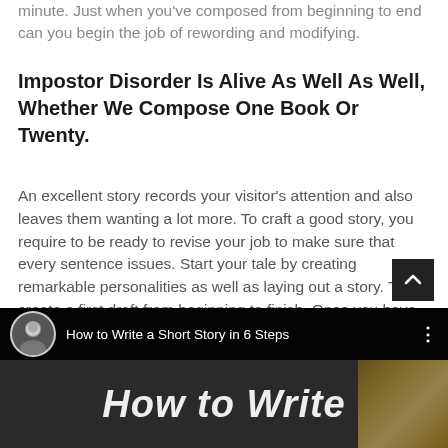minute. Just when you've composed from beginning to end can you begin the job of rewording and modifying.
Impostor Disorder Is Alive As Well As Well, Whether We Compose One Book Or Twenty.
An excellent story records your visitor's attention and also leaves them wanting a lot more. To craft a good story, you require to be ready to revise your job to make sure that every sentence issues. Start your tale by creating remarkable personalities as well as laying out a story. Then, create a first draft from beginning to finish. Once you have your first draft, boost it making use of a couple of writing techniques.
[Figure (screenshot): YouTube video thumbnail showing 'How to Write a Short Story in 6 Steps' with a man's avatar photo and the text 'How to Write' displayed over a dark chalkboard background with pencils in the corner.]